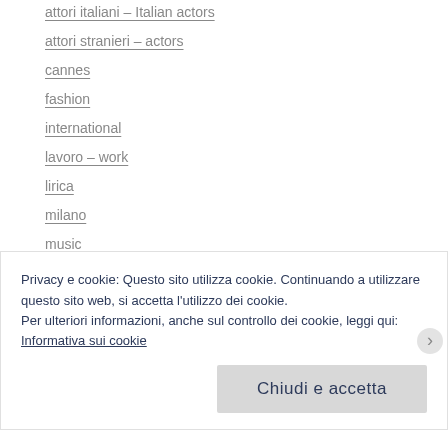attori italiani – Italian actors
attori stranieri – actors
cannes
fashion
international
lavoro – work
lirica
milano
music
photo
Privacy e cookie: Questo sito utilizza cookie. Continuando a utilizzare questo sito web, si accetta l'utilizzo dei cookie.
Per ulteriori informazioni, anche sul controllo dei cookie, leggi qui: Informativa sui cookie